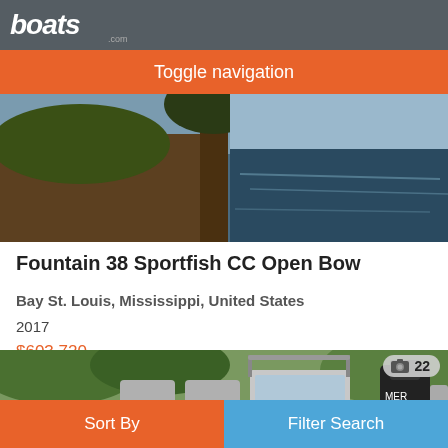boats.com
Toggle navigation
[Figure (photo): Photo of a boat near water with trees and reflections, partially cut off at top]
Fountain 38 Sportfish CC Open Bow
Bay St. Louis, Mississippi, United States
2017
$603,720
Private Seller
[Figure (photo): Photo of a boat with outboard motor and seating, shown docked near trees. Photo count badge shows 22 photos.]
Sort By
Filter Search